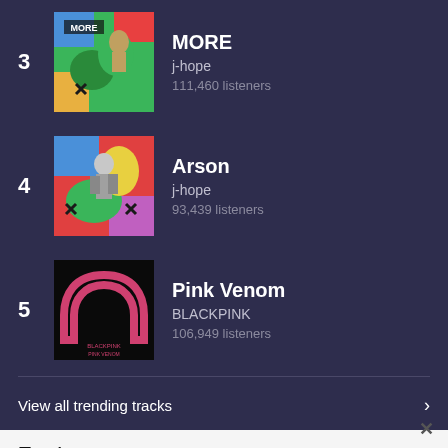3 MORE j-hope 111,460 listeners
4 Arson j-hope 93,439 listeners
5 Pink Venom BLACKPINK 106,949 listeners
View all trending tracks
Features
[Figure (photo): Pink/purple gradient banner image for Features section]